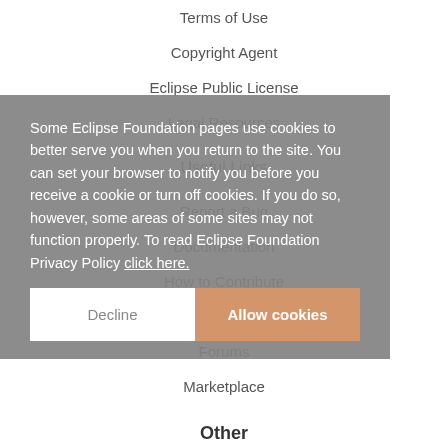Terms of Use
Copyright Agent
Eclipse Public License
Legal Resources
Useful Links
Report a Bug
Documentation
How to Contribute
Mailing Lists
Forums
Marketplace
Other
IDE and Tools
Some Eclipse Foundation pages use cookies to better serve you when you return to the site. You can set your browser to notify you before you receive a cookie or turn off cookies. If you do so, however, some areas of some sites may not function properly. To read Eclipse Foundation Privacy Policy click here.